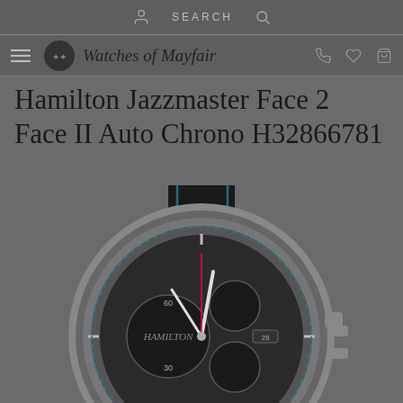Watches of Mayfair — navigation header with user, search, phone, wishlist, cart icons
Hamilton Jazzmaster Face 2 Face II Auto Chrono H32866781
[Figure (photo): Product photo of Hamilton Jazzmaster Face 2 Face II Auto Chrono watch H32866781, showing the watch face with chronograph subdials, dark dial with teal/blue accents, silver case, dark leather strap with blue stitching, viewed from front at slight angle]